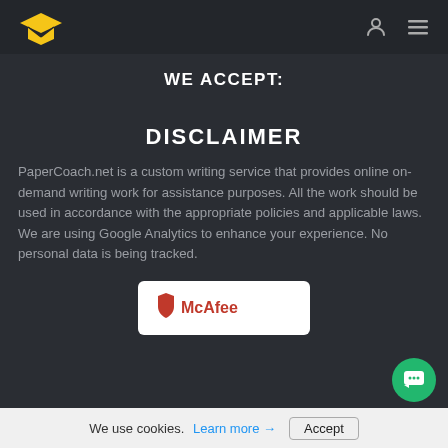[Figure (logo): PaperCoach graduation cap logo in yellow/gold with navigation icons (user icon and hamburger menu)]
WE ACCEPT:
DISCLAIMER
PaperCoach.net is a custom writing service that provides online on-demand writing work for assistance purposes. All the work should be used in accordance with the appropriate policies and applicable laws. We are using Google Analytics to enhance your experience. No personal data is being tracked.
[Figure (logo): McAfee security logo badge on white background]
We use cookies. Learn more → Accept